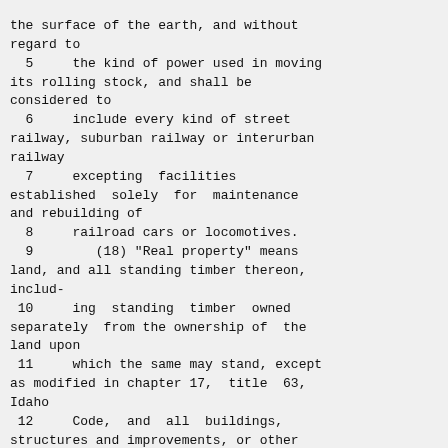the surface of the earth, and without regard to
   5     the kind of power used in moving its rolling stock, and shall be considered to
   6     include every kind of street railway, suburban railway or interurban railway
   7     excepting  facilities established  solely  for  maintenance and rebuilding of
   8     railroad cars or locomotives.
   9        (18) "Real property" means land, and all standing timber thereon, includ-
 10     ing  standing  timber  owned separately  from the ownership of  the land upon
 11     which the same may stand, except as modified in chapter 17,  title  63, Idaho
 12     Code,  and  all  buildings, structures and improvements, or other fixtures of
 13     whatsoever kind on land.